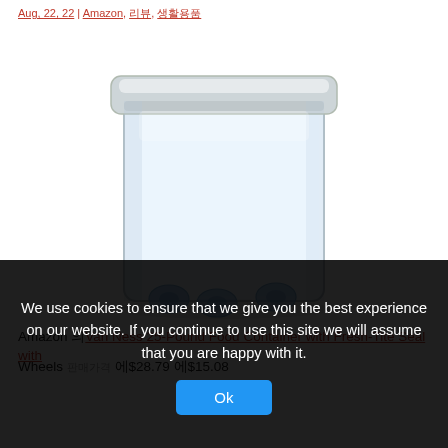Aug, 22, 22 | Amazon, 리뷰, 생활용품
[Figure (photo): Van Ness 25-Pound Food Container with Fresh-Tite Seal with Wheels — a translucent plastic rectangular storage bin with a grey lid and blue wheel casters at the base, on white background.]
Amazon 의Van Ness 25-Pound Food Container with Fresh-Tite Seal with Wheels 판매가격 에$28.79 에$15.08
We use cookies to ensure that we give you the best experience on our website. If you continue to use this site we will assume that you are happy with it.